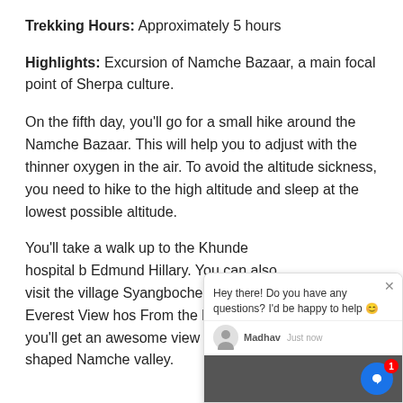Trekking Hours: Approximately 5 hours
Highlights: Excursion of Namche Bazaar, a main focal point of Sherpa culture.
On the fifth day, you'll go for a small hike around the Namche Bazaar. This will help you to adjust with the thinner oxygen in the air. To avoid the altitude sickness, you need to hike to the high altitude and sleep at the lowest possible altitude.
You'll take a walk up to the Khunde hospital b... Edmund Hillary. You can also visit the village ... Syangboche, where the Everest View ho...s ....... From the hilltop, you'll get an awesome view of horse shaped Namche valley.
[Figure (screenshot): Chat widget overlay showing 'Hey there! Do you have any questions? I'd be happy to help 😊' message from agent Madhav, just now, with blue chat icon button and red notification badge showing 1.]